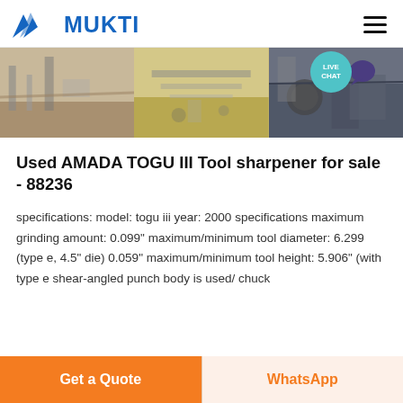MUKTI
[Figure (photo): Three industrial/mining equipment site photos used as a banner]
Used AMADA TOGU III Tool sharpener for sale - 88236
specifications: model: togu iii year: 2000 specifications maximum grinding amount: 0.099" maximum/minimum tool diameter: 6.299 (type e, 4.5" die) 0.059" maximum/minimum tool height: 5.906" (with type e shear-angled punch body is used/ chuck
Get a Quote   WhatsApp